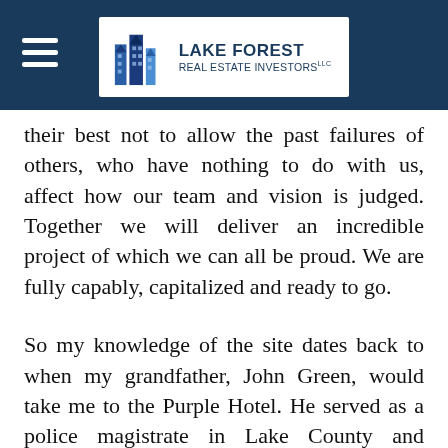Lake Forest Real Estate Investors LLC
their best not to allow the past failures of others, who have nothing to do with us, affect how our team and vision is judged.  Together we will deliver an incredible project of which we can all be proud.  We are fully capably, capitalized and ready to go.
So my knowledge of the site dates back to when my grandfather, John Green, would take me to the Purple Hotel.  He served as a police magistrate in Lake County and Chairman of the Democratic Party Central Committee of Northern Illinois.  Like others in politics and law the Purple Hotel was a favorite meeting